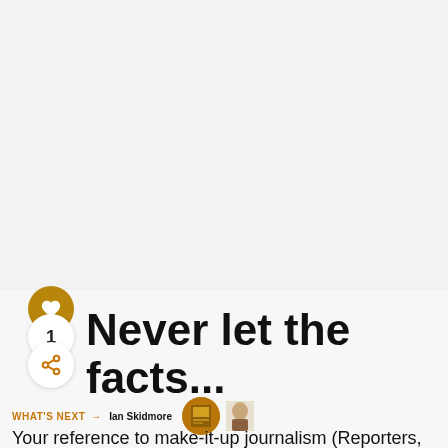Never let the facts...
WHAT'S NEXT → Ian Skidmore
Your reference to make-it-up journalism (Reporters, lawyers and…